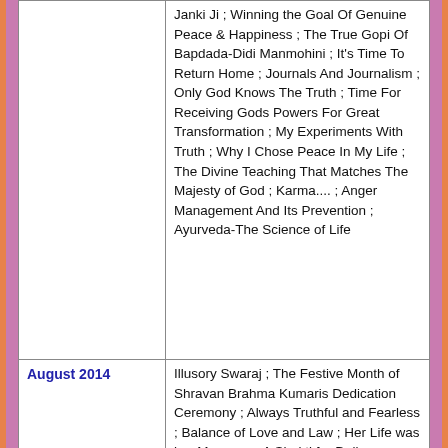| Date | Content |
| --- | --- |
|  | Janki Ji ; Winning the Goal Of Genuine Peace & Happiness ; The True Gopi Of Bapdada-Didi Manmohini ; It's Time To Return Home ; Journals And Journalism ; Only God Knows The Truth ; Time For Receiving Gods Powers For Great Transformation ; My Experiments With Truth ; Why I Chose Peace In My Life ; The Divine Teaching That Matches The Majesty of God ; Karma.... ; Anger Management And Its Prevention ; Ayurveda-The Science of Life |
| August 2014 | Illusory Swaraj ; The Festive Month of Shravan Brahma Kumaris Dedication Ceremony ; Always Truthful and Fearless ; Balance of Love and Law ; Her Life was her Message ; A Shakti for Deliverance of Mankind ; True Significance of Raksha Bandhan - |